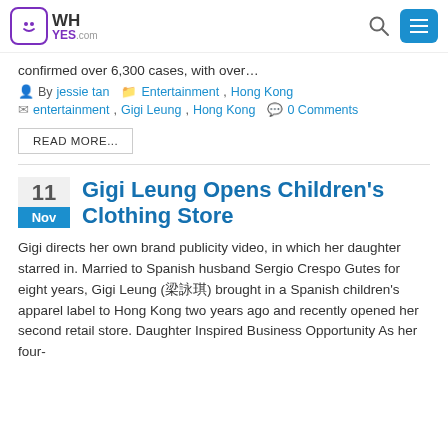WH YES.com
confirmed over 6,300 cases, with over…
By jessie tan  Entertainment, Hong Kong  entertainment, Gigi Leung, Hong Kong  0 Comments
READ MORE...
Gigi Leung Opens Children's Clothing Store
Gigi directs her own brand publicity video, in which her daughter starred in. Married to Spanish husband Sergio Crespo Gutes for eight years, Gigi Leung (梁詠琪) brought in a Spanish children's apparel label to Hong Kong two years ago and recently opened her second retail store. Daughter Inspired Business Opportunity As her four-